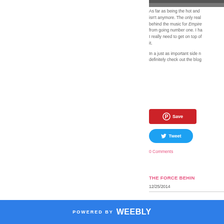[Figure (photo): Partial photo strip at top of right column]
As far as being the hot and isn't anymore. The only real behind the music for Empire from going number one. I ha I really need to get on top of it.
In a just as important side n definitely check out the blog
[Figure (other): Pinterest Save button - red rounded rectangle with Pinterest circle icon and Save text]
[Figure (other): Twitter Tweet button - blue pill-shaped button with bird icon and Tweet text]
0 Comments
THE FORCE BEHIN
12/25/2014
POWERED BY weebly